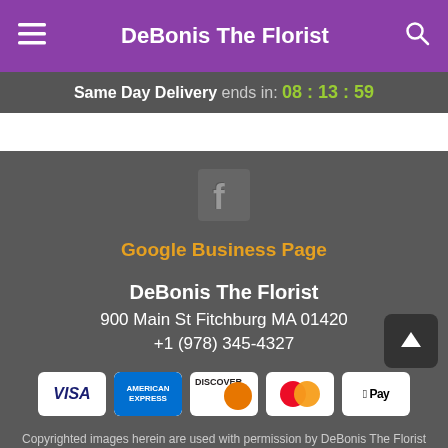DeBonis The Florist
Same Day Delivery ends in: 08 : 13 : 59
[Figure (logo): Facebook logo icon in grey square]
Google Business Page
DeBonis The Florist
900 Main St Fitchburg MA 01420
+1 (978) 345-4327
[Figure (other): Payment method icons: VISA, American Express, Discover, Mastercard, Apple Pay]
Copyrighted images herein are used with permission by DeBonis The Florist